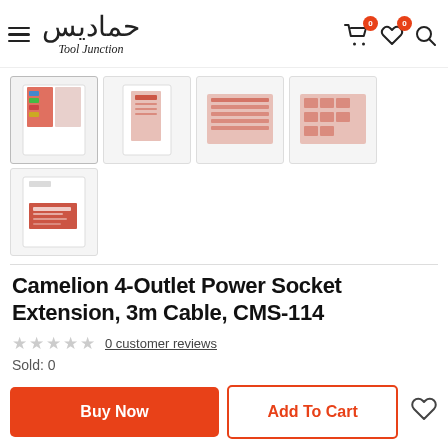[Figure (logo): Tool Junction logo with Arabic calligraphy and text 'Tool Junction']
[Figure (screenshot): Product thumbnail gallery showing 5 images of Camelion 4-Outlet Power Socket Extension packaging]
Camelion 4-Outlet Power Socket Extension, 3m Cable, CMS-114
0 customer reviews
Sold: 0
Buy Now
Add To Cart